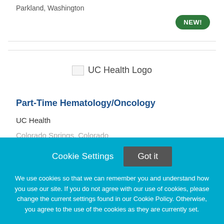Parkland, Washington
NEW!
[Figure (logo): UC Health Logo]
Part-Time Hematology/Oncology
UC Health
Colorado Springs, Colorado
Cookie Settings
Got it
We use cookies so that we can remember you and understand how you use our site. If you do not agree with our use of cookies, please change the current settings found in our Cookie Policy. Otherwise, you agree to the use of the cookies as they are currently set.